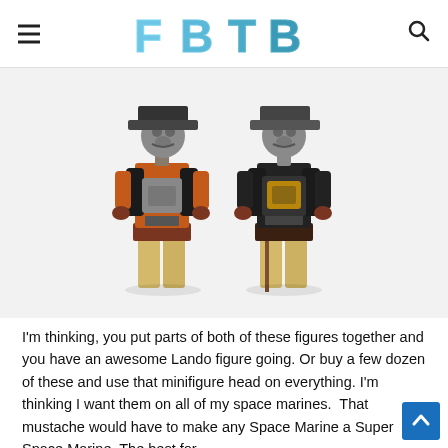FBTB
[Figure (photo): Two LEGO Star Wars minifigures side by side on a white background. Left figure has an orange vest/torso with printed armor details and a dark hat/helmet with alien head. Right figure has a dark torso with printed gold buckle/armor details and similar alien head. Both have tan/dark-tan legs.]
I'm thinking, you put parts of both of these figures together and you have an awesome Lando figure going. Or buy a few dozen of these and use that minifigure head on everything. I'm thinking I want them on all of my space marines. That mustache would have to make any Space Marine a Super Space Marine. The best for…